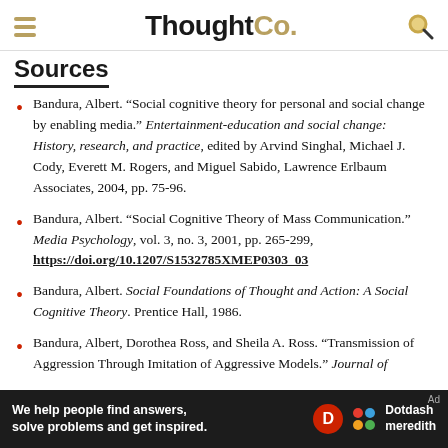ThoughtCo.
Sources
Bandura, Albert. “Social cognitive theory for personal and social change by enabling media.” Entertainment-education and social change: History, research, and practice, edited by Arvind Singhal, Michael J. Cody, Everett M. Rogers, and Miguel Sabido, Lawrence Erlbaum Associates, 2004, pp. 75-96.
Bandura, Albert. “Social Cognitive Theory of Mass Communication.” Media Psychology, vol. 3, no. 3, 2001, pp. 265-299, https://doi.org/10.1207/S1532785XMEP0303_03
Bandura, Albert. Social Foundations of Thought and Action: A Social Cognitive Theory. Prentice Hall, 1986.
Bandura, Albert, Dorothea Ross, and Sheila A. Ross. “Transmission of Aggression Through Imitation of Aggressive Models.” Journal of
We help people find answers, solve problems and get inspired. Dotdash meredith